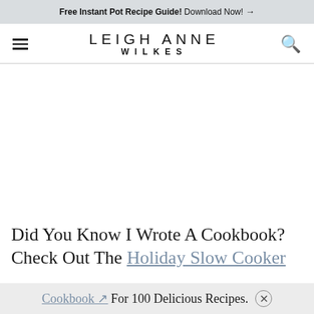Free Instant Pot Recipe Guide! Download Now! →
LEIGH ANNE WILKES
Did You Know I Wrote A Cookbook? Check Out The Holiday Slow Cooker Cookbook ↗ For 100 Delicious Recipes.